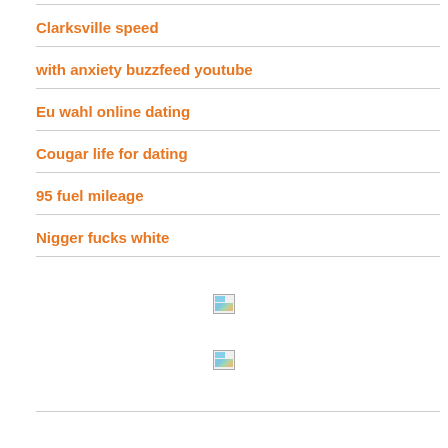Clarksville speed
with anxiety buzzfeed youtube
Eu wahl online dating
Cougar life for dating
95 fuel mileage
Nigger fucks white
[Figure (other): Broken image placeholder 1]
[Figure (other): Broken image placeholder 2]